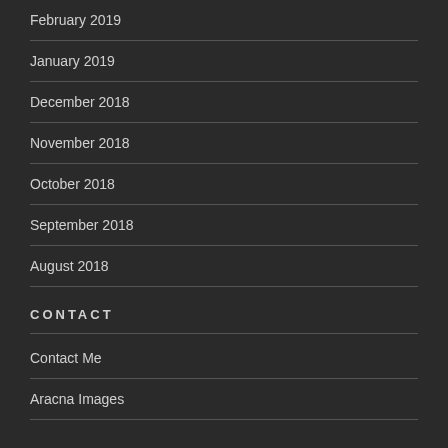February 2019
January 2019
December 2018
November 2018
October 2018
September 2018
August 2018
CONTACT
Contact Me
Aracna Images